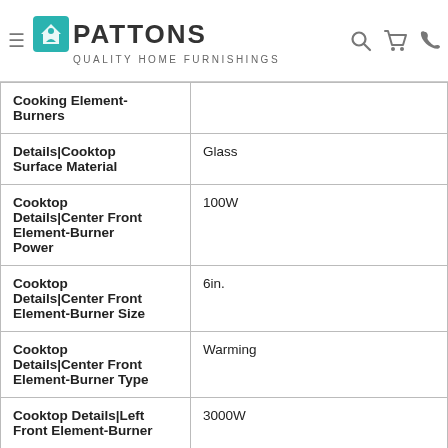PATTONS QUALITY HOME FURNISHINGS
| Attribute | Value |
| --- | --- |
| Cooking Element-Burners |  |
| Details|Cooktop Surface Material | Glass |
| Cooktop Details|Center Front Element-Burner Power | 100W |
| Cooktop Details|Center Front Element-Burner Size | 6in. |
| Cooktop Details|Center Front Element-Burner Type | Warming |
| Cooktop Details|Left Front Element-Burner | 3000W |